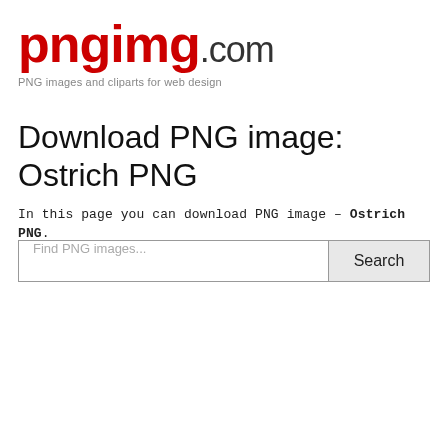pngimg.com
PNG images and cliparts for web design
Download PNG image: Ostrich PNG
In this page you can download PNG image – Ostrich PNG.
Find PNG images...  Search